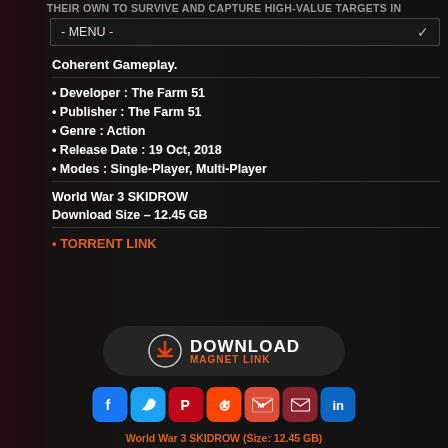Their Own To Survive And Capture High-Value Targets In
- MENU -
Coherent Gameplay.
• Developer : The Farm 51
• Publisher : The Farm 51
• Genre : Action
• Release Date : 19 Oct, 2018
• Modes : Single-Player, Multi-Player
World War 3 SKIDROW
Download Size – 12.45 GB
• TORRENT LINK
[Figure (screenshot): Download magnet link button with red download arrow icon, white DOWNLOAD text and orange MAGNET LINK text on dark rounded background]
[Figure (infographic): Social sharing icons row: Facebook, Twitter, Pinterest, Reddit, Gmail, Email, LinkedIn]
World War 3 SKIDROW (Size: 12.45 GB)